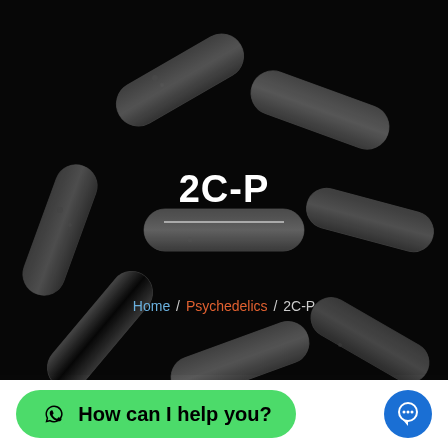[Figure (photo): Dark background photo of multiple gelatin capsules filled with white powder/granules, arranged in a cluster on a black surface.]
2C-P
Home / Psychedelics / 2C-P
How can I help you?